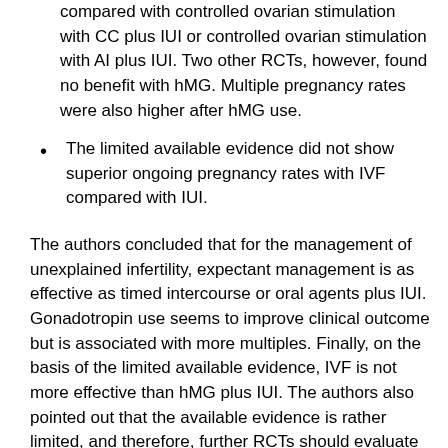compared with controlled ovarian stimulation with CC plus IUI or controlled ovarian stimulation with AI plus IUI. Two other RCTs, however, found no benefit with hMG. Multiple pregnancy rates were also higher after hMG use.
The limited available evidence did not show superior ongoing pregnancy rates with IVF compared with IUI.
The authors concluded that for the management of unexplained infertility, expectant management is as effective as timed intercourse or oral agents plus IUI. Gonadotropin use seems to improve clinical outcome but is associated with more multiples. Finally, on the basis of the limited available evidence, IVF is not more effective than hMG plus IUI. The authors also pointed out that the available evidence is rather limited, and therefore, further RCTs should evaluate treatment options.
Viewpoint